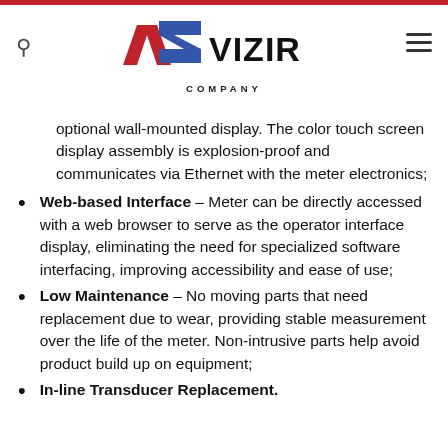VIZIR COMPANY
optional wall-mounted display. The color touch screen display assembly is explosion-proof and communicates via Ethernet with the meter electronics;
Web-based Interface – Meter can be directly accessed with a web browser to serve as the operator interface display, eliminating the need for specialized software interfacing, improving accessibility and ease of use;
Low Maintenance – No moving parts that need replacement due to wear, providing stable measurement over the life of the meter. Non-intrusive parts help avoid product build up on equipment;
In-line Transducer Replacement.